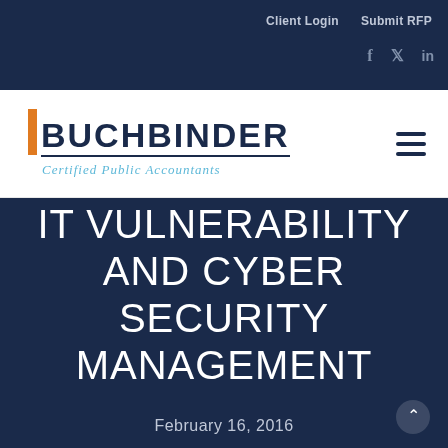Client Login   Submit RFP
[Figure (logo): Buchbinder Certified Public Accountants logo with orange bar accent and dark navy wordmark]
IT VULNERABILITY AND CYBER SECURITY MANAGEMENT
February 16, 2016